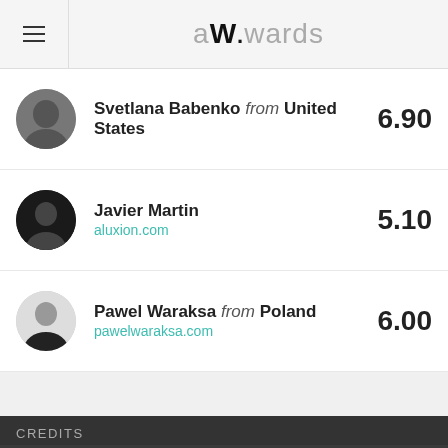awwwards (logo/navigation header)
Svetlana Babenko from United States — 6.90
Javier Martin — aluxion.com — 5.10
Pawel Waraksa from Poland — pawelwaraksa.com — 6.00
CREDITS
This website uses cookies to ensure you get the best experience on our website. Cookies Policy  GOT IT
reptile from Canada